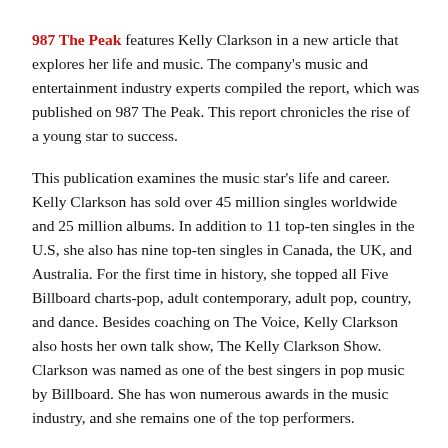987 The Peak features Kelly Clarkson in a new article that explores her life and music. The company's music and entertainment industry experts compiled the report, which was published on 987 The Peak. This report chronicles the rise of a young star to success.
This publication examines the music star's life and career. Kelly Clarkson has sold over 45 million singles worldwide and 25 million albums. In addition to 11 top-ten singles in the U.S, she also has nine top-ten singles in Canada, the UK, and Australia. For the first time in history, she topped all Five Billboard charts-pop, adult contemporary, adult pop, country, and dance. Besides coaching on The Voice, Kelly Clarkson also hosts her own talk show, The Kelly Clarkson Show. Clarkson was named as one of the best singers in pop music by Billboard. She has won numerous awards in the music industry, and she remains one of the top performers.
987 The Peak's experts developed the report after thorough industry research. The publication was designed to showcase the life and